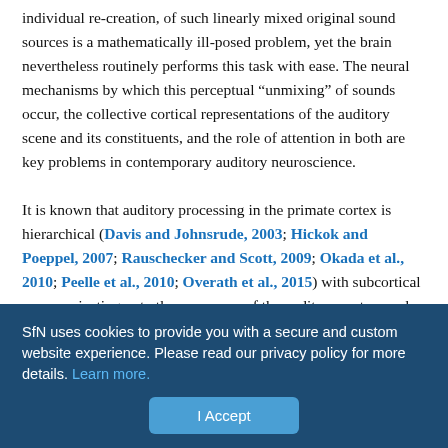individual re-creation, of such linearly mixed original sound sources is a mathematically ill-posed problem, yet the brain nevertheless routinely performs this task with ease. The neural mechanisms by which this perceptual “unmixing” of sounds occur, the collective cortical representations of the auditory scene and its constituents, and the role of attention in both are key problems in contemporary auditory neuroscience.

It is known that auditory processing in the primate cortex is hierarchical (Davis and Johnsrude, 2003; Hickok and Poeppel, 2007; Rauschecker and Scott, 2009; Okada et al., 2010; Peelle et al., 2010; Overath et al., 2015) with subcortical areas projecting onto the core areas of the auditory cortex, and from there on to belt, parabelt, and additional auditory areas (Kaas and Hackett, 2000).
SfN uses cookies to provide you with a secure and custom website experience. Please read our privacy policy for more details. Learn more.